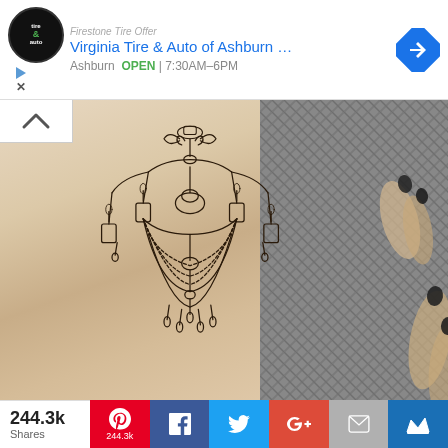[Figure (screenshot): Advertisement banner for Virginia Tire & Auto of Ashburn with logo, navigation arrow icon, and business info showing OPEN 7:30AM-6PM]
[Figure (photo): Close-up photo of a person's forearm with a detailed chandelier tattoo in fine-line black ink style, with a herringbone fabric visible on the right side]
244.3k Shares
[Figure (screenshot): Social sharing bar with Pinterest (244.3k), Facebook, Twitter, Google+, Email, and Crown buttons]